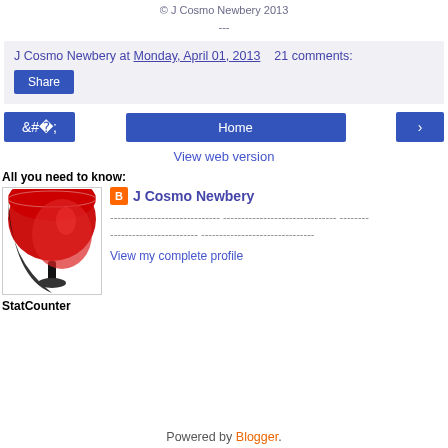© J Cosmo Newbery 2013
---
J Cosmo Newbery at Monday, April 01, 2013   21 comments:
Share
‹   Home   ›
View web version
All you need to know:
[Figure (photo): Profile photo showing a red wine glass from below against white background]
J Cosmo Newbery
View my complete profile
StatCounter
Powered by Blogger.